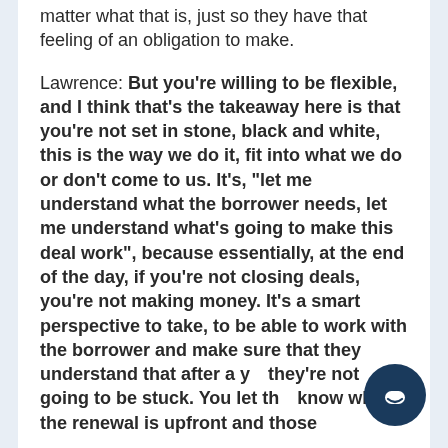matter what that is, just so they have that feeling of an obligation to make.
Lawrence: But you're willing to be flexible, and I think that's the takeaway here is that you're not set in stone, black and white, this is the way we do it, fit into what we do or don't come to us. It's, "let me understand what the borrower needs, let me understand what's going to make this deal work", because essentially, at the end of the day, if you're not closing deals, you're not making money. It's a smart perspective to take, to be able to work with the borrower and make sure that they understand that after a year they're not going to be stuck. You let them know what the renewal is upfront and those